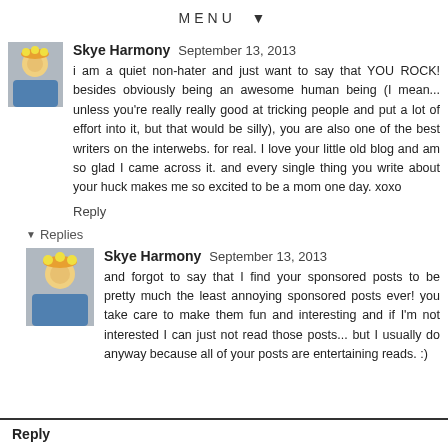MENU ▼
Skye Harmony  September 13, 2013
i am a quiet non-hater and just want to say that YOU ROCK! besides obviously being an awesome human being (I mean... unless you're really really good at tricking people and put a lot of effort into it, but that would be silly), you are also one of the best writers on the interwebs. for real. I love your little old blog and am so glad I came across it. and every single thing you write about your huck makes me so excited to be a mom one day. xoxo
Reply
▼ Replies
Skye Harmony  September 13, 2013
and forgot to say that I find your sponsored posts to be pretty much the least annoying sponsored posts ever! you take care to make them fun and interesting and if I'm not interested I can just not read those posts... but I usually do anyway because all of your posts are entertaining reads. :)
Reply